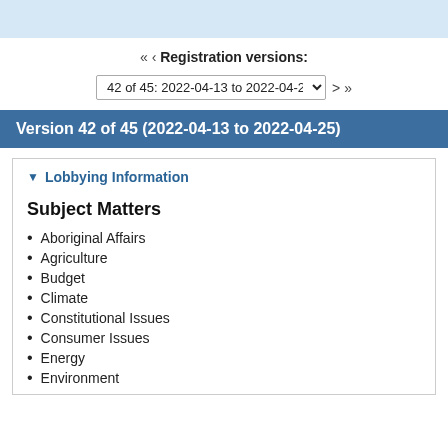<< < Registration versions:
42 of 45: 2022-04-13 to 2022-04-25  > >>
Version 42 of 45 (2022-04-13 to 2022-04-25)
▼ Lobbying Information
Subject Matters
Aboriginal Affairs
Agriculture
Budget
Climate
Constitutional Issues
Consumer Issues
Energy
Environment